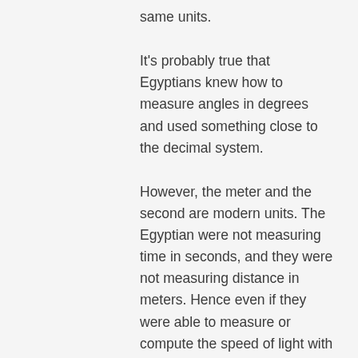same units.
It's probably true that Egyptians knew how to measure angles in degrees and used something close to the decimal system.
However, the meter and the second are modern units. The Egyptian were not measuring time in seconds, and they were not measuring distance in meters. Hence even if they were able to measure or compute the speed of light with extreme precision, they would have absolutely no reason to use m/s as their speed unit. They would probably use cubit/hour as